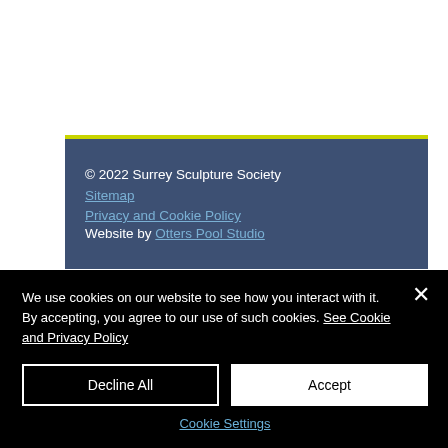© 2022 Surrey Sculpture Society
Sitemap
Privacy and Cookie Policy
Website by Otters Pool Studio
We use cookies on our website to see how you interact with it. By accepting, you agree to our use of such cookies. See Cookie and Privacy Policy
Decline All
Accept
Cookie Settings